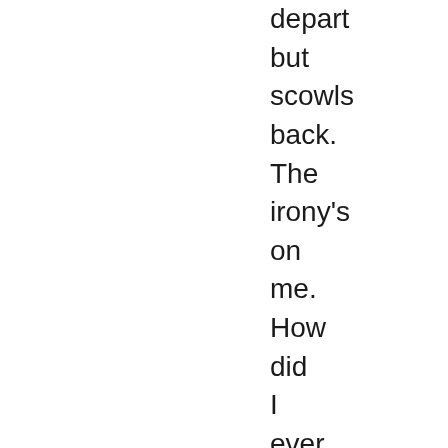depart but scowls back. The irony's on me. How did I ever get to be you? It's true.

I'll scrabble up